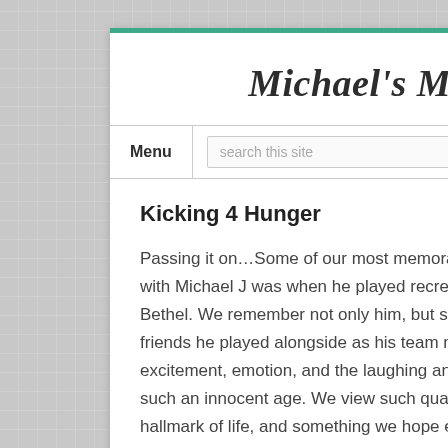Michael's Moon
Menu
Kicking 4 Hunger
Passing it on…Some of our most memorable moments spent with Michael J was when he played recreational soccer in Bethel. We remember not only him, but so many of his beautiful friends he played alongside as his team mates. We recall the excitement, emotion, and the laughing and crying of kids at such an innocent age. We view such quality times as a hallmark of life, and something we hope every child can experience during their youthful times.